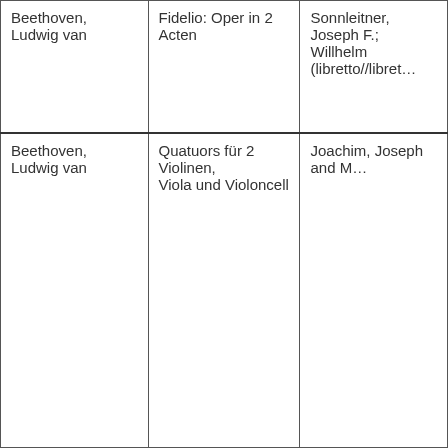| Beethoven, Ludwig van | Fidelio: Oper in 2 Acten | Sonnleitner, Joseph F.; Willhelm (libretto//libret… |
| Beethoven, Ludwig van | Quatuors für 2 Violinen, Viola und Violoncell | Joachim, Joseph and M… |